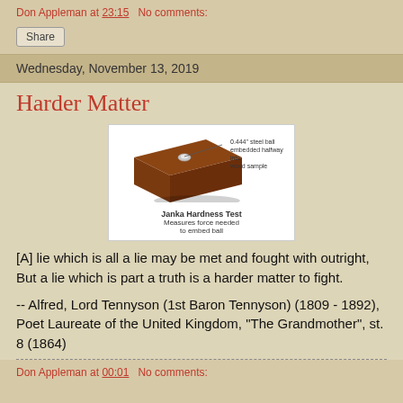Don Appleman at 23:15   No comments:
Share
Wednesday, November 13, 2019
Harder Matter
[Figure (illustration): Diagram of the Janka Hardness Test showing a wood sample block with a 0.444" steel ball embedded halfway into the wood sample. Caption reads: Janka Hardness Test — Measures force needed to embed ball.]
[A] lie which is all a lie may be met and fought with outright, But a lie which is part a truth is a harder matter to fight.
-- Alfred, Lord Tennyson (1st Baron Tennyson) (1809 - 1892), Poet Laureate of the United Kingdom, "The Grandmother", st. 8 (1864)
Don Appleman at 00:01   No comments: